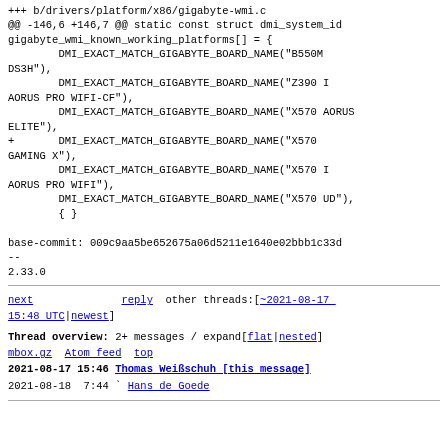+++ b/drivers/platform/x86/gigabyte-wmi.c
@@ -146,6 +146,7 @@ static const struct dmi_system_id gigabyte_wmi_known_working_platforms[] = {
        DMI_EXACT_MATCH_GIGABYTE_BOARD_NAME("B550M DS3H"),
        DMI_EXACT_MATCH_GIGABYTE_BOARD_NAME("Z390 I AORUS PRO WIFI-CF"),
        DMI_EXACT_MATCH_GIGABYTE_BOARD_NAME("X570 AORUS ELITE"),
+       DMI_EXACT_MATCH_GIGABYTE_BOARD_NAME("X570 GAMING X"),
        DMI_EXACT_MATCH_GIGABYTE_BOARD_NAME("X570 I AORUS PRO WIFI"),
        DMI_EXACT_MATCH_GIGABYTE_BOARD_NAME("X570 UD"),
        { }

base-commit: 009c9aa5be652675a06d5211e1640e02bbb1c33d
--
2.33.0
next   reply   other threads:[~2021-08-17 15:48 UTC|newest]
Thread overview: 2+ messages / expand[flat|nested]
mbox.gz  Atom feed  top
2021-08-17 15:46  Thomas Weißschuh [this message]
2021-08-18  7:44  ` Hans de Goede